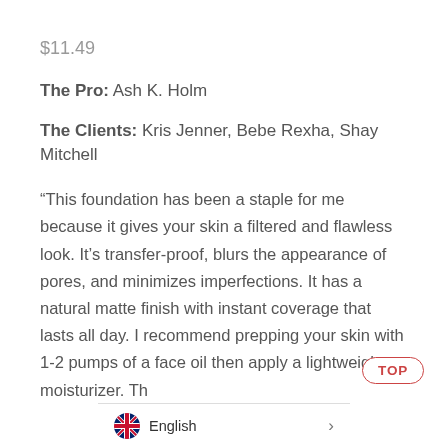$11.49
The Pro: Ash K. Holm
The Clients: Kris Jenner, Bebe Rexha, Shay Mitchell
“This foundation has been a staple for me because it gives your skin a filtered and flawless look. It’s transfer-proof, blurs the appearance of pores, and minimizes imperfections. It has a natural matte finish with instant coverage that lasts all day. I recommend prepping your skin with 1-2 pumps of a face oil then apply a lightweight moisturizer. Th…
[Figure (other): TOP button (oval outline in red) and English language selector bar with UK flag]
TOP
English